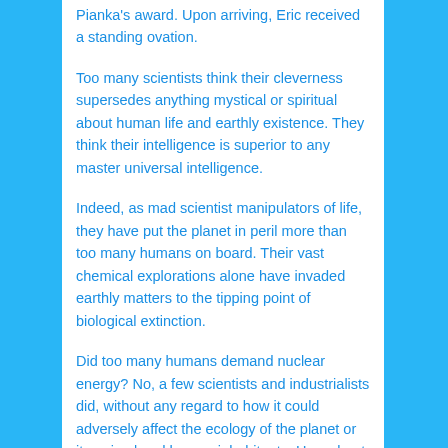Pianka's award. Upon arriving, Eric received a standing ovation.
Too many scientists think their cleverness supersedes anything mystical or spiritual about human life and earthly existence. They think their intelligence is superior to any master universal intelligence.
Indeed, as mad scientist manipulators of life, they have put the planet in peril more than too many humans on board. Their vast chemical explorations alone have invaded earthly matters to the tipping point of biological extinction.
Did too many humans demand nuclear energy? No, a few scientists and industrialists did, without any regard to how it could adversely affect the ecology of the planet or its animal and human inhabitants. How about oil and its grip on energy and petrochemical plastics?
Did the masses rise up to demand more petrochemical